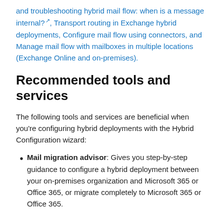and troubleshooting hybrid mail flow: when is a message internal? , Transport routing in Exchange hybrid deployments, Configure mail flow using connectors, and Manage mail flow with mailboxes in multiple locations (Exchange Online and on-premises).
Recommended tools and services
The following tools and services are beneficial when you're configuring hybrid deployments with the Hybrid Configuration wizard:
Mail migration advisor: Gives you step-by-step guidance to configure a hybrid deployment between your on-premises organization and Microsoft 365 or Office 365, or migrate completely to Microsoft 365 or Office 365.